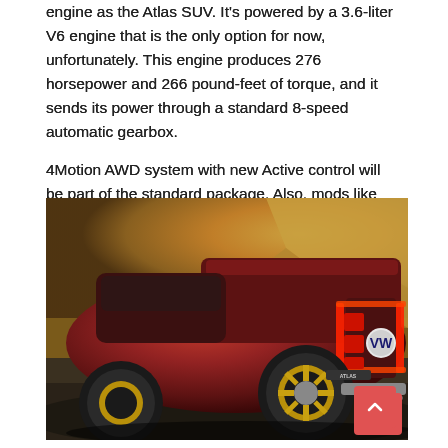engine as the Atlas SUV. It's powered by a 3.6-liter V6 engine that is the only option for now, unfortunately. This engine produces 276 horsepower and 266 pound-feet of torque, and it sends its power through a standard 8-speed automatic gearbox.
4Motion AWD system with new Active control will be part of the standard package. Also, mods like sport, off-road, on-road, snow, and mud will be available. From some reports, the new pickup will sprint from 0 to 60 mph in 8.5 seconds.
[Figure (photo): Rear three-quarter view of a red Volkswagen Atlas Tanoak pickup truck concept with glowing red taillights and VW logo on the tailgate, set against a rocky mountainous outdoor background.]